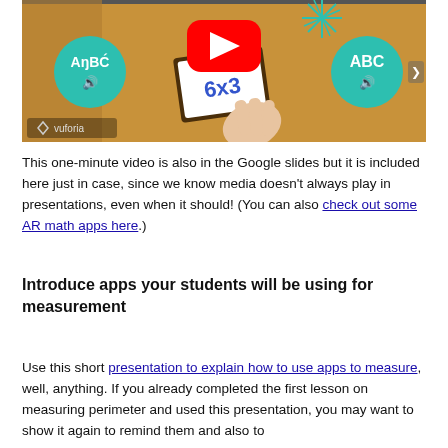[Figure (screenshot): Screenshot of a YouTube video thumbnail showing an augmented reality math app (Vuforia) with a hand holding a card that says '6x3', two teal circles with 'AnBC' and 'ABC' labels with speaker icons, YouTube play button, and teal firework/star decoration. Vuforia logo visible at bottom left.]
This one-minute video is also in the Google slides but it is included here just in case, since we know media doesn't always play in presentations, even when it should! (You can also check out some AR math apps here.)
Introduce apps your students will be using for measurement
Use this short presentation to explain how to use apps to measure, well, anything. If you already completed the first lesson on measuring perimeter and used this presentation, you may want to show it again to remind them and also to